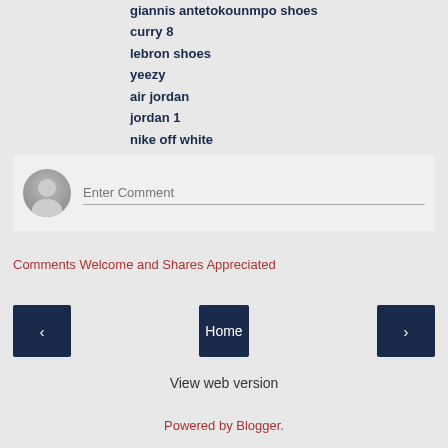giannis antetokounmpo shoes
curry 8
lebron shoes
yeezy
air jordan
jordan 1
nike off white
Reply
[Figure (other): Comment input box with user avatar placeholder and 'Enter Comment' placeholder text]
Comments Welcome and Shares Appreciated
Home
View web version
Powered by Blogger.